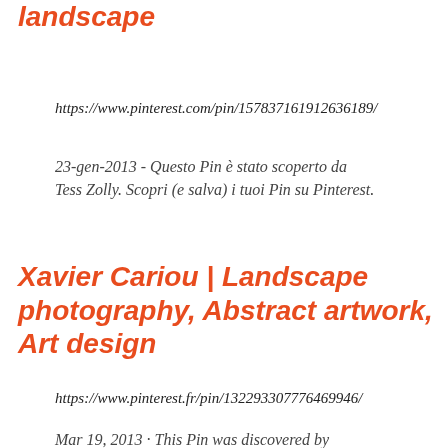landscape
https://www.pinterest.com/pin/157837161912636189/
23-gen-2013 - Questo Pin è stato scoperto da Tess Zolly. Scopri (e salva) i tuoi Pin su Pinterest.
Xavier Cariou | Landscape photography, Abstract artwork, Art design
https://www.pinterest.fr/pin/132293307776469946/
Mar 19, 2013 · This Pin was discovered by